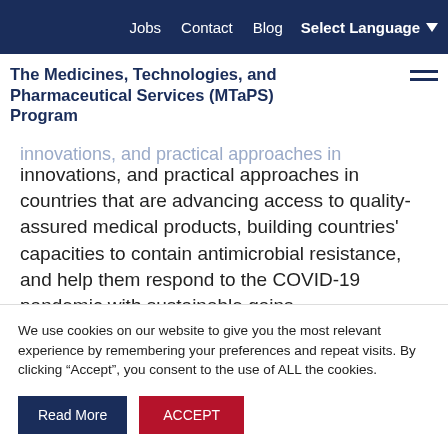Jobs   Contact   Blog   Select Language
The Medicines, Technologies, and Pharmaceutical Services (MTaPS) Program
innovations, and practical approaches in countries that are advancing access to quality-assured medical products, building countries' capacities to contain antimicrobial resistance, and help them respond to the COVID-19 pandemic with sustainable gains.
We use cookies on our website to give you the most relevant experience by remembering your preferences and repeat visits. By clicking “Accept”, you consent to the use of ALL the cookies.
Read More   ACCEPT